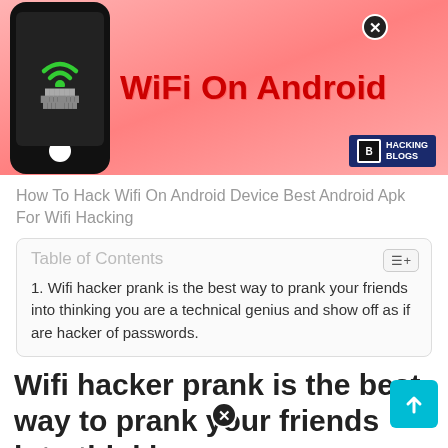[Figure (screenshot): Banner image showing a phone mockup with WiFi hacker prank graphic. Red/pink gradient background with 'WiFi On Android' in red bold text and a Hacking Blogs logo.]
How To Hack Wifi On Android Device Best Android Apk For Wifi Hacking
| Table of Contents |
| --- |
| 1. Wifi hacker prank is the best way to prank your friends into thinking you are a technical genius and show off as if are hacker of passwords. |
Wifi hacker prank is the best way to prank your friends into thinking you are a technical genius